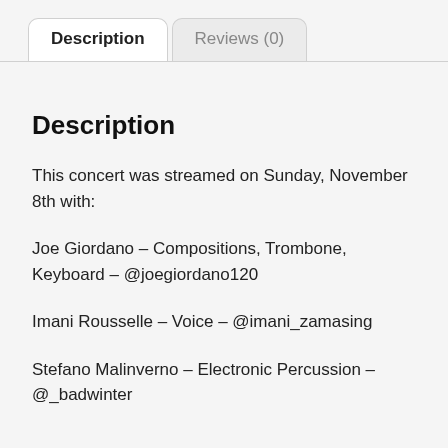Description | Reviews (0)
Description
This concert was streamed on Sunday, November 8th with:
Joe Giordano – Compositions, Trombone, Keyboard – @joegiordano120
Imani Rousselle – Voice – @imani_zamasing
Stefano Malinverno – Electronic Percussion – @_badwinter